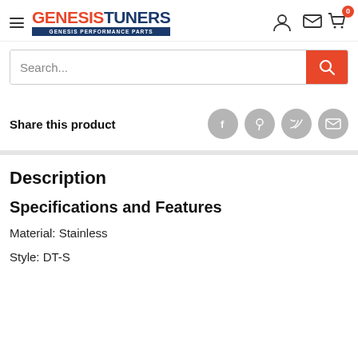GENESISTUNERS - GENESIS PERFORMANCE PARTS
Search...
Share this product
Description
Specifications and Features
Material: Stainless
Style: DT-S